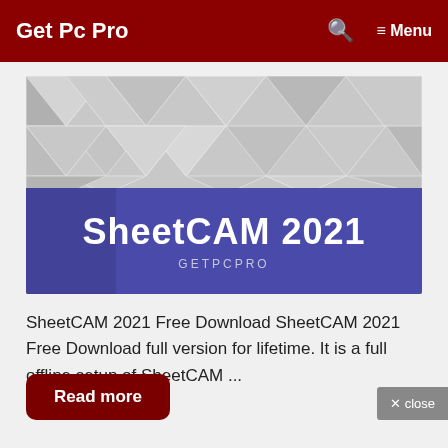Get Pc Pro  🔍  ☰ Menu
[Figure (screenshot): Feature image for SheetCAM 2021 showing a geometric gray triangular pattern background with a blue-purple banner reading 'SheetCAM 2021' in bold white text and 'GETPCPRO' in smaller text below.]
SheetCAM 2021 Free Download SheetCAM 2021 Free Download full version for lifetime. It is a full offline setup of SheetCAM ...
Read more
✕ close